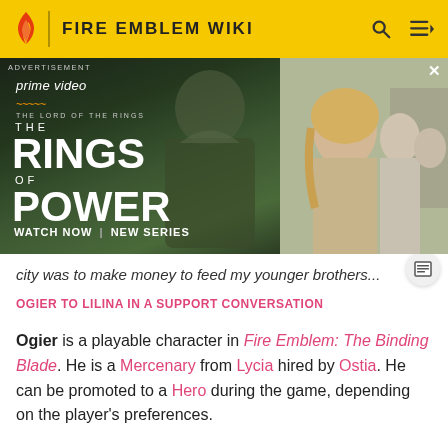FIRE EMBLEM WIKI
[Figure (photo): Amazon Prime Video advertisement for The Lord of the Rings: The Rings of Power. Shows a dark fantasy figure in robes on the left and a blonde woman with others behind her on the right. Text reads: prime video, THE LORD OF THE RINGS THE RINGS OF POWER, WATCH NOW | NEW SERIES]
city was to make money to feed my younger brothers...
OGIER TO LILINA IN A SUPPORT CONVERSATION
Ogier is a playable character in Fire Emblem: The Binding Blade. He is a Mercenary from Lycia hired by Ostia. He can be promoted to a Hero during the game, depending on the player's preferences.